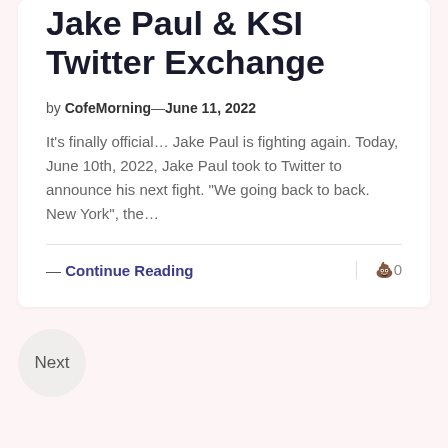Jake Paul & KSI Twitter Exchange
by CofeMorning—June 11, 2022
It's finally official… Jake Paul is fighting again. Today, June 10th, 2022, Jake Paul took to Twitter to announce his next fight. "We going back to back. New York", the…
— Continue Reading
🗩0
Next